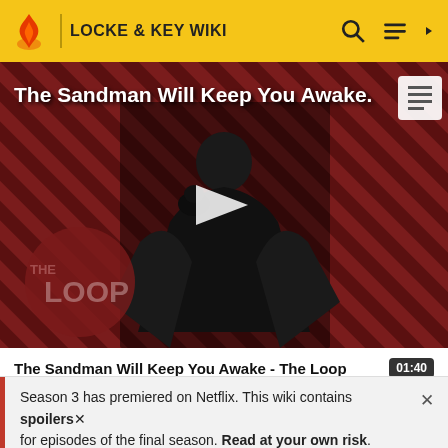LOCKE & KEY WIKI
[Figure (screenshot): Video thumbnail showing a figure in black cape on a diagonal striped dark red background. THE LOOP logo visible at bottom left. Play button centered. Title overlay reads: The Sandman Will Keep You Awake.]
The Sandman Will Keep You Awake - The Loop
was completely fixed. She began testing other broken
Season 3 has premiered on Netflix. This wiki contains spoilers for episodes of the final season. Read at your own risk.